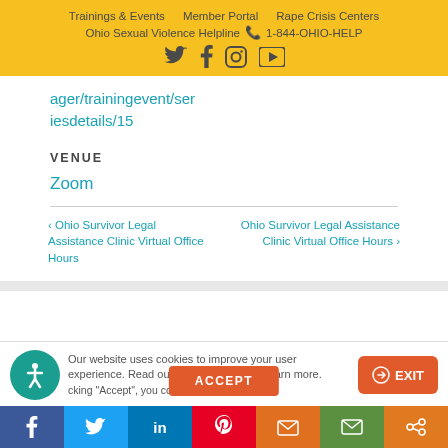Trainings & Events | Member Portal | Rape Crisis Centers | Ohio Sexual Violence Helpline 1-844-OHIO-HELP
ager/trainingevent/seriesdetails/15
VENUE
Zoom
< Ohio Survivor Legal Assistance Clinic Virtual Office Hours | Ohio Survivor Legal Assistance Clinic Virtual Office Hours >
Our website uses cookies to improve your user experience. Read our Privacy Policy to learn more. By clicking "Accept", you consent to the use of ALL cookies. EXIT | ACCEPT